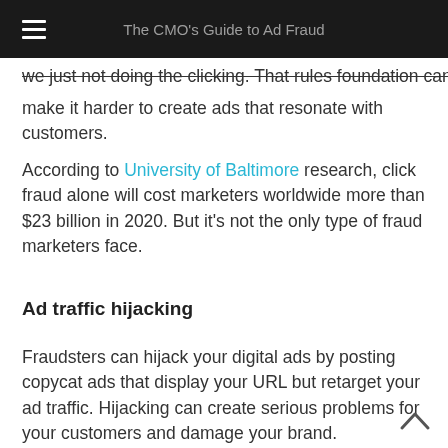The CMO's Guide to Ad Fraud
we just not doing the clicking. That rules foundation can make it harder to create ads that resonate with customers.
According to University of Baltimore research, click fraud alone will cost marketers worldwide more than $23 billion in 2020. But it's not the only type of fraud marketers face.
Ad traffic hijacking
Fraudsters can hijack your digital ads by posting copycat ads that display your URL but retarget your ad traffic. Hijacking can create serious problems for your customers and damage your brand.